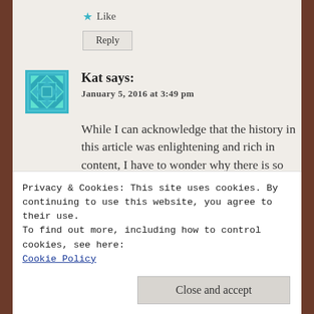★ Like
Reply
Kat says:
January 5, 2016 at 3:49 pm
While I can acknowledge that the history in this article was enlightening and rich in content, I have to wonder why there is so much anger behind this. How are any of you to know what a woman who has since passed on, would have wanted. One can ASSUME, but you know what people
Privacy & Cookies: This site uses cookies. By continuing to use this website, you agree to their use.
To find out more, including how to control cookies, see here:
Cookie Policy
Close and accept